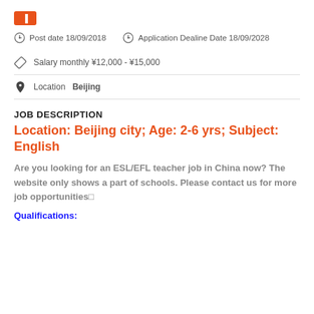Post date 18/09/2018   Application Dealine Date 18/09/2028
Salary monthly ¥12,000 - ¥15,000
Location Beijing
JOB DESCRIPTION
Location: Beijing city; Age: 2-6 yrs; Subject: English
Are you looking for an ESL/EFL teacher job in China now? The website only shows a part of schools. Please contact us for more job opportunities□
Qualifications: